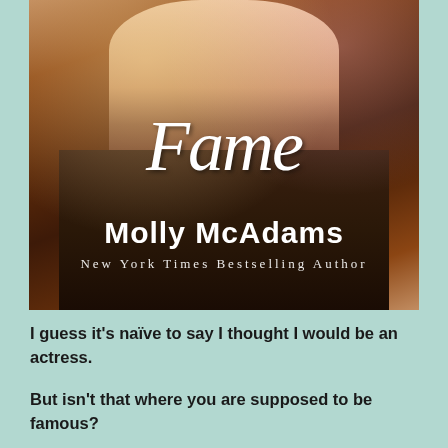[Figure (illustration): Book cover of 'Fame' by Molly McAdams. Shows a young woman with long brown hair, wearing a dark jacket, with bokeh light effects. Title 'Fame' in white handwritten/script font, author name 'Molly McAdams' in bold white sans-serif, subtitle 'New York Times Bestselling Author' in spaced white serif.]
I guess it's naïve to say I thought I would be an actress.
But isn't that where you are supposed to be famous?